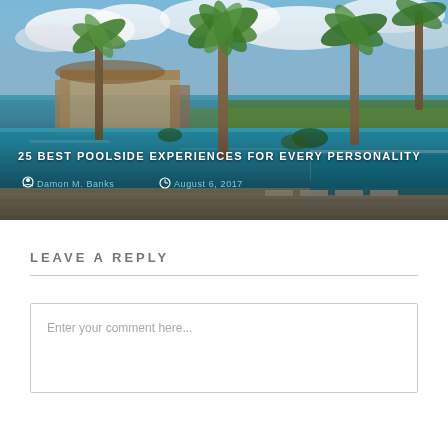[Figure (photo): Aerial/ground-level view of a tropical resort infinity pool surrounded by palm trees with an ocean view in the background under a partly cloudy sky. White lounge chairs visible near the pool. The image has an overlay with a blog post title and author/date metadata.]
25 BEST POOLSIDE EXPERIENCES FOR EVERY PERSONALITY
Damon M. Banks  August 6, 2017
LEAVE A REPLY
Enter your comment here...